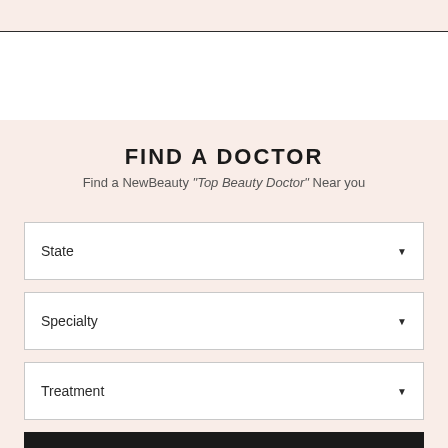FIND A DOCTOR
Find a NewBeauty "Top Beauty Doctor" Near you
State
Specialty
Treatment
SEARCH